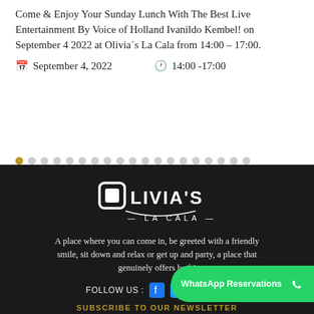Come & Enjoy Your Sunday Lunch With The Best Live Entertainment By Voice of Holland Ivanildo Kembel! on September 4 2022 at Olivia´s La Cala from 14:00 – 17:00.
September 4, 2022   14:00 -17:00
[Figure (other): Olivia's La Cala restaurant logo with decorative swash, on dark background]
A place where you can come in, be greeted with a friendly smile, sit down and relax or get up and party, a place that genuinely offers both!
FOLLOW US :
WhatsApp Reservations
SUBSCRIBE TO OUR NEWSLETTER
Email...